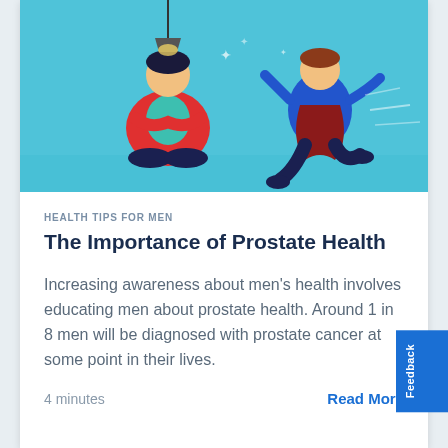[Figure (illustration): Colorful flat illustration on a teal/blue background showing two illustrated figures: one seated meditatively wearing a red jacket and teal shirt, another in motion wearing blue and dark navy clothing. The illustration promotes men's health awareness.]
HEALTH TIPS FOR MEN
The Importance of Prostate Health
Increasing awareness about men's health involves educating men about prostate health. Around 1 in 8 men will be diagnosed with prostate cancer at some point in their lives.
4 minutes
Read More